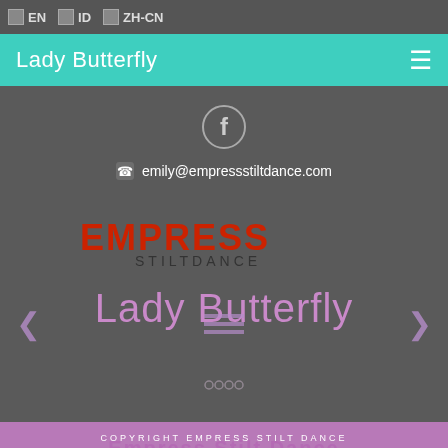EN  ID  ZH-CN
Lady Butterfly
[Figure (logo): Facebook circle icon with 'f' letter in white on grey outlined circle]
emily@empressstiltdance.com
[Figure (logo): Empress Stilt Dance logo in red and dark text]
Lady Butterfly
COPYRIGHT EMPRESS STILT DANCE